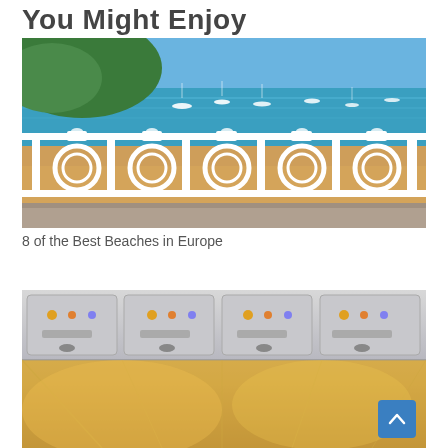You Might Enjoy
[Figure (photo): Ornate white balustrade railing in foreground with sandy beach and turquoise sea with boats and a green hillside in background under blue sky — San Sebastián, Spain]
8 of the Best Beaches in Europe
[Figure (photo): Interior of an airplane cabin showing overhead panels with call buttons and lighting, warm ambient lighting]